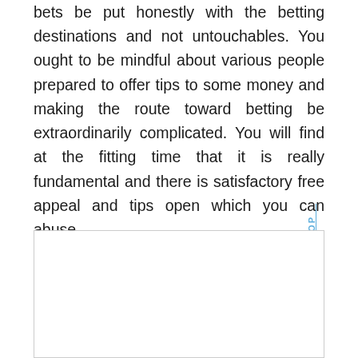bets be put honestly with the betting destinations and not untouchables. You ought to be mindful about various people prepared to offer tips to some money and making the route toward betting be extraordinarily complicated. You will find at the fitting time that it is really fundamental and there is satisfactory free appeal and tips open which you can abuse.
PREVIOUS POST
Online Slot Gambling Games Are More Amusing Game
NEXT POST